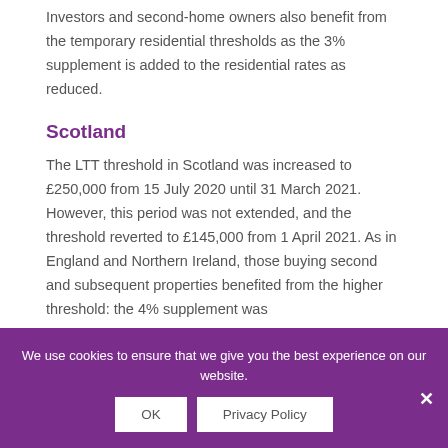Investors and second-home owners also benefit from the temporary residential thresholds as the 3% supplement is added to the residential rates as reduced.
Scotland
The LTT threshold in Scotland was increased to £250,000 from 15 July 2020 until 31 March 2021. However, this period was not extended, and the threshold reverted to £145,000 from 1 April 2021. As in England and Northern Ireland, those buying second and subsequent properties benefited from the higher threshold: the 4% supplement was
We use cookies to ensure that we give you the best experience on our website.
OK
Privacy Policy